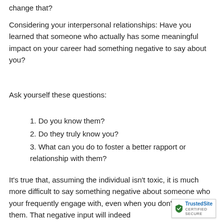change that?
Considering your interpersonal relationships: Have you learned that someone who actually has some meaningful impact on your career had something negative to say about you?
Ask yourself these questions:
1. Do you know them?
2. Do they truly know you?
3. What can you do to foster a better rapport or relationship with them?
It's true that, assuming the individual isn't toxic, it is much more difficult to say something negative about someone who your frequently engage with, even when you don't agree with them. That negative input will indeed
[Figure (logo): TrustedSite Certified Secure badge with blue checkmark shield icon]